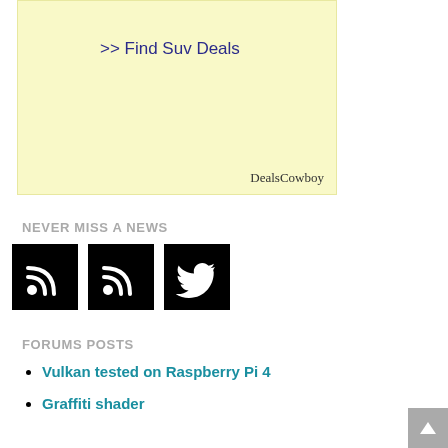[Figure (other): Advertisement box with yellow background showing '>> Find Suv Deals' link text and 'DealsCowboy' brand label]
NEVER MISS A NEWS
[Figure (other): Three black square icons: RSS feed icon, RSS feed icon, Twitter bird icon]
FORUMS POSTS
Vulkan tested on Raspberry Pi 4
Graffiti shader